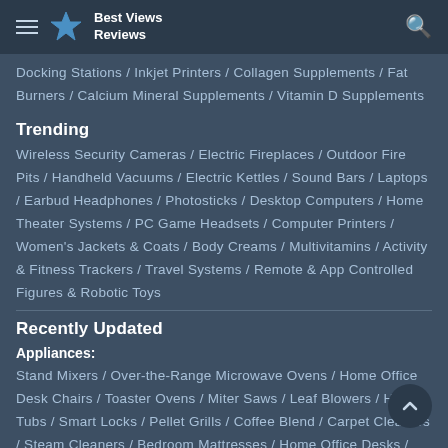Best Views Reviews
Docking Stations / Inkjet Printers / Collagen Supplements / Fat Burners / Calcium Mineral Supplements / Vitamin D Supplements
Trending
Wireless Security Cameras / Electric Fireplaces / Outdoor Fire Pits / Handheld Vacuums / Electric Kettles / Sound Bars / Laptops / Earbud Headphones / Photosticks / Desktop Computers / Home Theater Systems / PC Game Headsets / Computer Printers / Women's Jackets & Coats / Body Creams / Multivitamins / Activity & Fitness Trackers / Travel Systems / Remote & App Controlled Figures & Robotic Toys
Recently Updated
Appliances:
Stand Mixers / Over-the-Range Microwave Ovens / Home Office Desk Chairs / Toaster Ovens / Miter Saws / Leaf Blowers / Hot Tubs / Smart Locks / Pellet Grills / Coffee Blend / Carpet Cleaners / Steam Cleaners / Bedroom Mattresses / Home Office Desks / Chainsaws / Landscape Bath Lights / Battery Packs